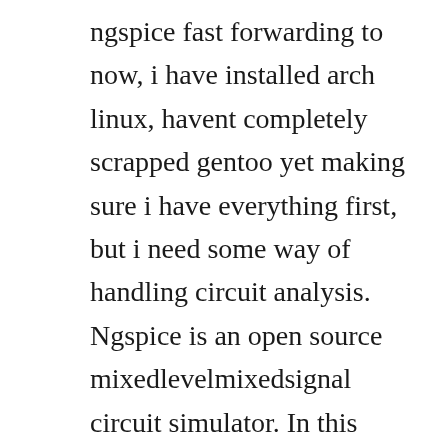ngspice fast forwarding to now, i have installed arch linux, havent completely scrapped gentoo yet making sure i have everything first, but i need some way of handling circuit analysis. Ngspice is an open source mixedlevelmixedsignal circuit simulator. In this article, a brief tutorial on ngspice is presented. Show slide hover mouse over circuit diagram show nodes a,b,c we will use the example circuit shown. Almost any linux offers a complete c development environment. A small group of maintainers and the user community contribute to the